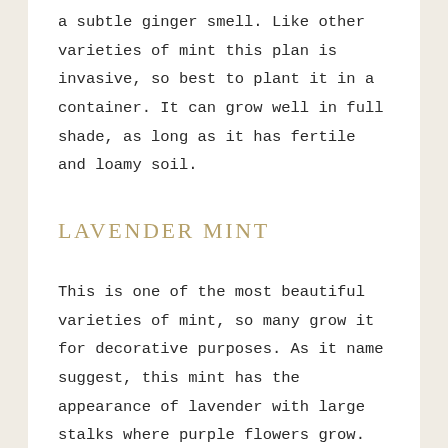a subtle ginger smell. Like other varieties of mint this plan is invasive, so best to plant it in a container. It can grow well in full shade, as long as it has fertile and loamy soil.
LAVENDER MINT
This is one of the most beautiful varieties of mint, so many grow it for decorative purposes. As it name suggest, this mint has the appearance of lavender with large stalks where purple flowers grow. This is not a creeping mint, it grows up to two feet tall in a hedge or row formation which can be placed in the back for a garden. You can also plant this mint in large, shallow containers. Lavender mint requires a relatively humid and warm